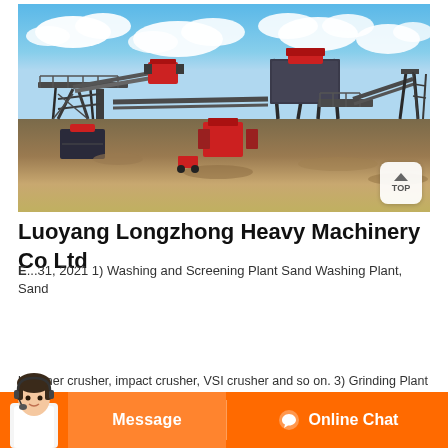[Figure (photo): Outdoor industrial heavy machinery / crushing and screening plant setup with conveyor belts, steel frames, and red machinery components against a blue sky with clouds]
Luoyang Longzhong Heavy Machinery Co Ltd
E...31, 2021 1) Washing and Screening Plant Sand Washing Plant, Sand
hammer crusher, impact crusher, VSI crusher and so on. 3) Grinding Plant